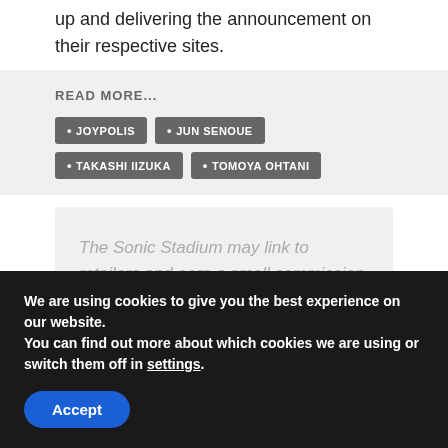up and delivering the announcement on their respective sites.
READ MORE...
• JOYPOLIS
• JUN SENOUE
• TAKASHI IIZUKA
• TOMOYA OHTANI
The Sonic Stadium may link to retailers and earn a small commission on purchases made from users who click those links.
We are using cookies to give you the best experience on our website.
You can find out more about which cookies we are using or switch them off in settings.
Accept